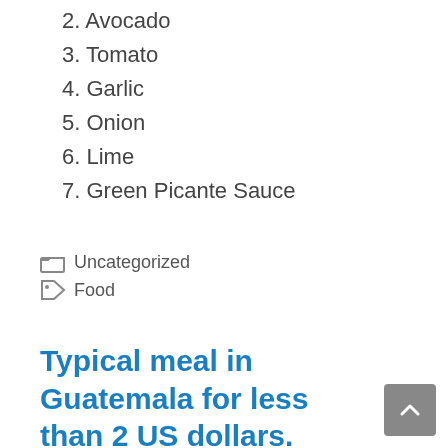2. Avocado
3. Tomato
4. Garlic
5. Onion
6. Lime
7. Green Picante Sauce
Uncategorized
Food
Typical meal in Guatemala for less than 2 US dollars.
December 23, 2009 by Scotty